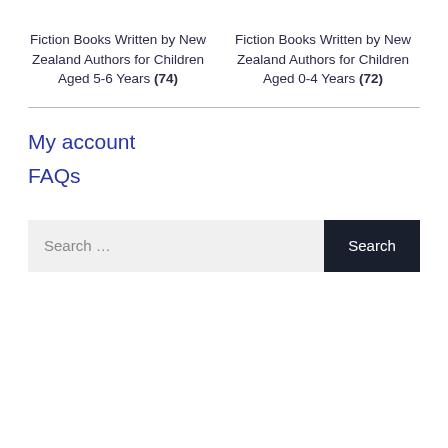Fiction Books Written by New Zealand Authors for Children Aged 5-6 Years (74)
Fiction Books Written by New Zealand Authors for Children Aged 0-4 Years (72)
My account
FAQs